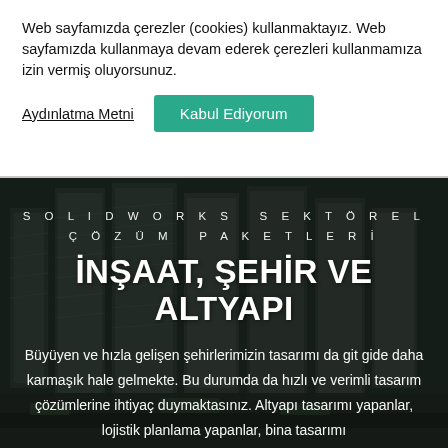Web sayfamızda çerezler (cookies) kullanmaktayız. Web sayfamızda kullanmaya devam ederek çerezleri kullanmamıza izin vermiş oluyorsunuz.
Aydınlatma Metni
Kabul Ediyorum
[Figure (photo): Aerial view of urban city blocks with tall buildings and streets, partially darkened overlay. Text overlaid reads 'SOLIDWORKS SEKTÖREL ÇÖZÜM PAKETLERİ' and 'İNŞAAT, ŞEHİR VE ALTYAPI' and a descriptive paragraph.]
İNŞAAT, ŞEHİR VE ALTYAPI
SOLIDWORKS SEKTÖREL ÇÖZÜM PAKETLERİ
Büyüyen ve hızla gelişen şehirlerimizin tasarımı da git gide daha karmaşık hale gelmekte. Bu durumda da hızlı ve verimli tasarım çözümlerine ihtiyaç duymaktasınız. Altyapı tasarımı yapanlar, lojistik planlama yapanlar, bina tasarımı